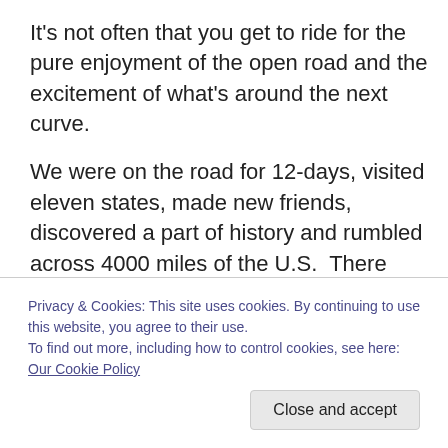It's not often that you get to ride for the pure enjoyment of the open road and the excitement of what's around the next curve.
We were on the road for 12-days, visited eleven states, made new friends, discovered a part of history and rumbled across 4000 miles of the U.S.  There were smells, wind gusts, moisture hungry lowland desert, tall pines and scented blooms along with blazing sun, searing heat, rugged landscape and mountain peaks that reached up and touched the clouds.  It was a most rewarding trip and
Privacy & Cookies: This site uses cookies. By continuing to use this website, you agree to their use.
To find out more, including how to control cookies, see here: Our Cookie Policy